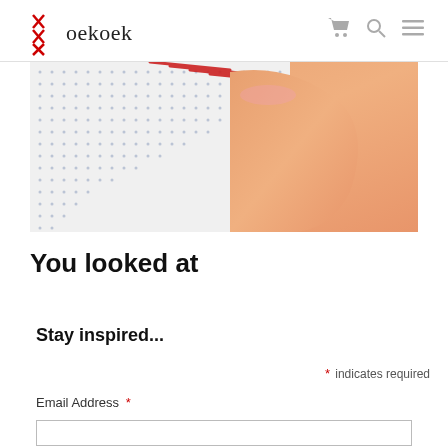Koekoek
[Figure (photo): Close-up photo of a hand with painted nails threading red embroidery thread through a white canvas/fabric with a grid of small holes (cross-stitch fabric).]
You looked at
Stay inspired...
* indicates required
Email Address *